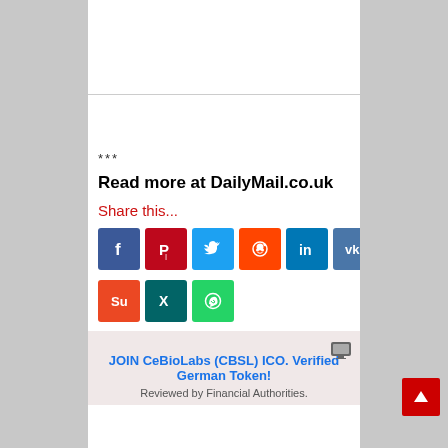***
Read more at DailyMail.co.uk
Share this...
[Figure (infographic): Row of social media share buttons: Facebook, Pinterest, Twitter, Reddit, LinkedIn, VK]
[Figure (infographic): Row of social media share buttons: StumbleUpon, Xing, WhatsApp]
[Figure (infographic): Advertisement box: JOIN CeBioLabs (CBSL) ICO. Verified German Token! Reviewed by Financial Authorities.]